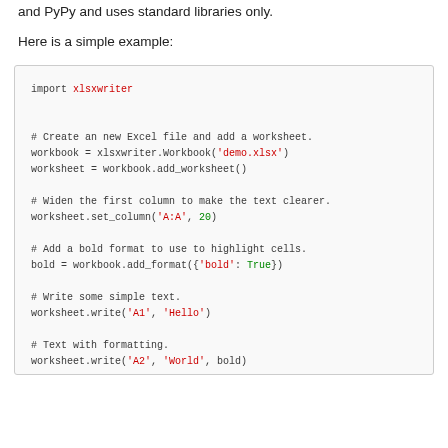and PyPy and uses standard libraries only.
Here is a simple example:
[Figure (screenshot): Python code block showing XlsxWriter example: import xlsxwriter, create workbook and worksheet, set column width, add bold format, write text to cells A1 and A2.]